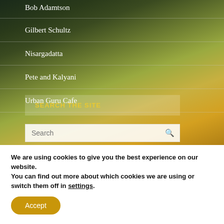Bob Adamtson
Gilbert Schultz
Nisargadatta
Pete and Kalyani
Urban Guru Cafe
SEARCH THE SITE
We are using cookies to give you the best experience on our website.
You can find out more about which cookies we are using or switch them off in settings.
Accept